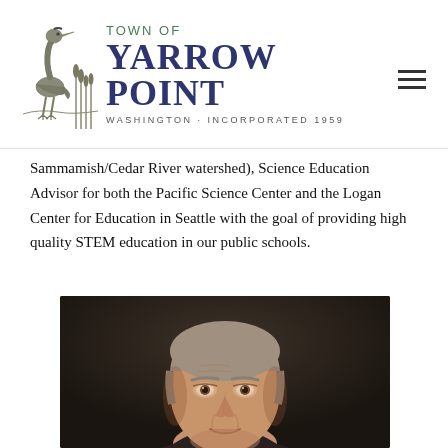[Figure (logo): Town of Yarrow Point logo with heron illustration and text: TOWN OF YARROW POINT, WASHINGTON · INCORPORATED 1959]
Sammamish/Cedar River watershed), Science Education Advisor for both the Pacific Science Center and the Logan Center for Education in Seattle with the goal of providing high quality STEM education in our public schools.
[Figure (photo): Portrait photograph of an older man with gray hair, smiling slightly, against a dark background]